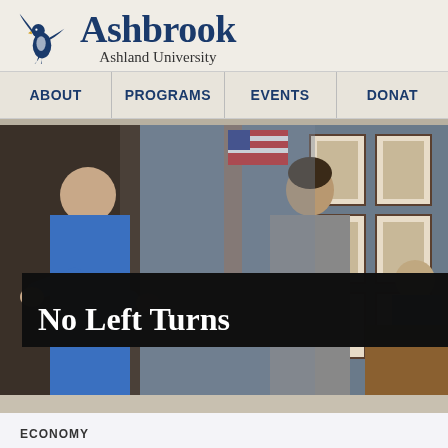[Figure (logo): Ashbrook Ashland University logo with blue eagle bird graphic and serif text]
ABOUT   PROGRAMS   EVENTS   DONATE
[Figure (photo): People conversing in a classroom or meeting room with framed pictures on the wall and an American flag in background. Overlay text reads: No Left Turns]
ECONOMY
The Motive Behind High-Speed Ra
Posted in Economy by Justin Paulette